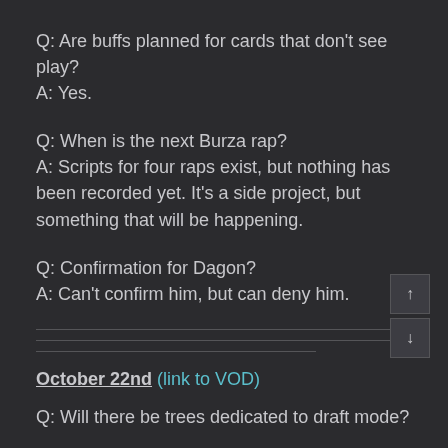Q: Are buffs planned for cards that don't see play?
A: Yes.
Q: When is the next Burza rap?
A: Scripts for four raps exist, but nothing has been recorded yet. It's a side project, but something that will be happening.
Q: Confirmation for Dagon?
A: Can't confirm him, but can deny him.
October 22nd (link to VOD)
Q: Will there be trees dedicated to draft mode?